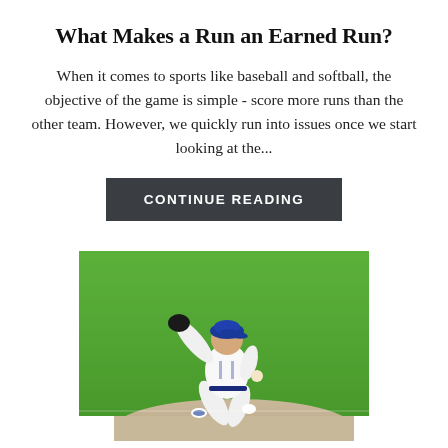What Makes a Run an Earned Run?
When it comes to sports like baseball and softball, the objective of the game is simple - score more runs than the other team. However, we quickly run into issues once we start looking at the...
CONTINUE READING
[Figure (photo): A baseball pitcher in a white uniform and blue cap mid-throw on a green grass field, viewed from behind/side]